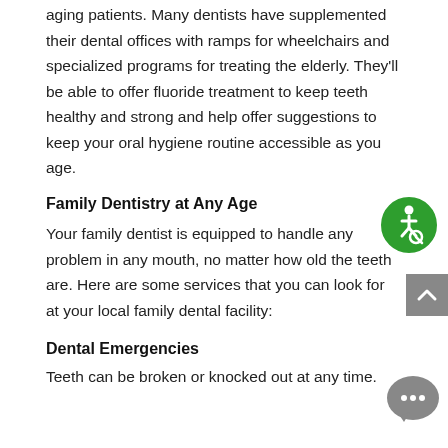aging patients. Many dentists have supplemented their dental offices with ramps for wheelchairs and specialized programs for treating the elderly. They'll be able to offer fluoride treatment to keep teeth healthy and strong and help offer suggestions to keep your oral hygiene routine accessible as you age.
[Figure (illustration): Green circular accessibility icon showing a person in a wheelchair]
Family Dentistry at Any Age
Your family dentist is equipped to handle any problem in any mouth, no matter how old the teeth are. Here are some services that you can look for at your local family dental facility:
[Figure (illustration): Gray scroll-to-top button with upward arrow]
Dental Emergencies
Teeth can be broken or knocked out at any time.
[Figure (illustration): Gray speech bubble chat icon with three dots]